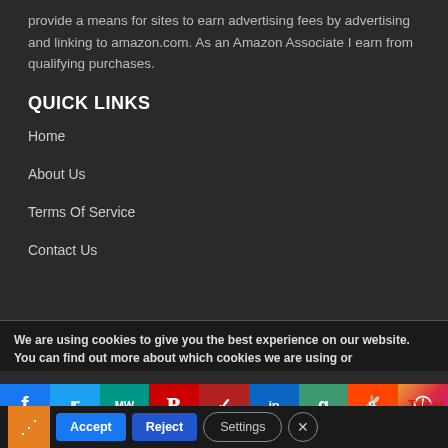provide a means for sites to earn advertising fees by advertising and linking to amazon.com. As an Amazon Associate I earn from qualifying purchases.
QUICK LINKS
Home
About Us
Terms Of Service
Contact Us
We are using cookies to give you the best experience on our website.
You can find out more about which cookies we are using or
[Figure (other): Social media sharing bar with icons for Facebook, Twitter, MeWe, Parler, Flipboard, LinkedIn, Goodreads, Reddit, Instagram, and Tweet label]
[Figure (other): Cookie consent action bar with Share icon, Accept button, Reject button, Settings button, and close X button]